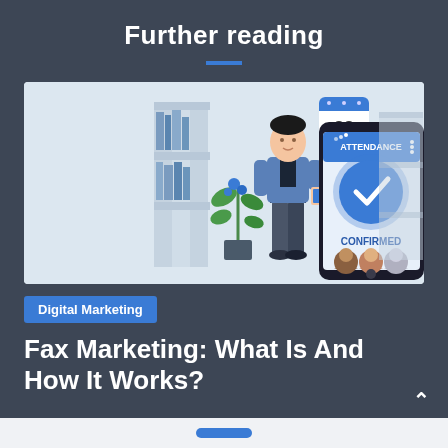Further reading
[Figure (illustration): Illustration of a man holding a smartphone standing next to a large phone showing an attendance confirmation screen with a blue checkmark and profile photos below]
Digital Marketing
Fax Marketing: What Is And How It Works?